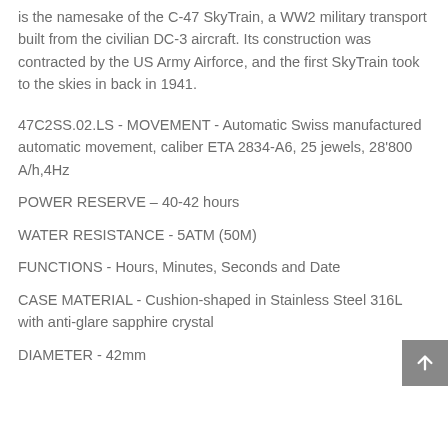is the namesake of the C-47 SkyTrain, a WW2 military transport built from the civilian DC-3 aircraft. Its construction was contracted by the US Army Airforce, and the first SkyTrain took to the skies in back in 1941.
47C2SS.02.LS - MOVEMENT - Automatic Swiss manufactured automatic movement, caliber ETA 2834-A6, 25 jewels, 28’800 A/h,4Hz
POWER RESERVE – 40-42 hours
WATER RESISTANCE - 5ATM (50M)
FUNCTIONS - Hours, Minutes, Seconds and Date
CASE MATERIAL - Cushion-shaped in Stainless Steel 316L with anti-glare sapphire crystal
DIAMETER - 42mm